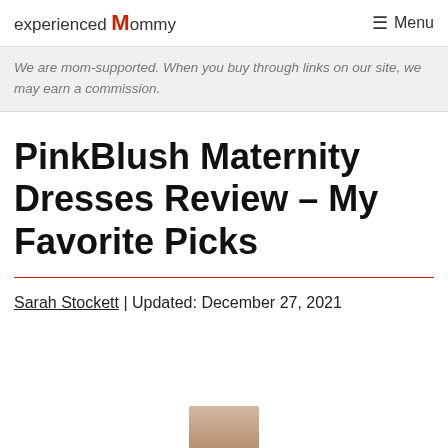experienced Mommy   ☰ Menu
We are mom-supported. When you buy through links on our site, we may earn a commission.
PinkBlush Maternity Dresses Review – My Favorite Picks
Sarah Stockett | Updated: December 27, 2021
[Figure (photo): Partial photo of a woman, cropped at the bottom of the page]